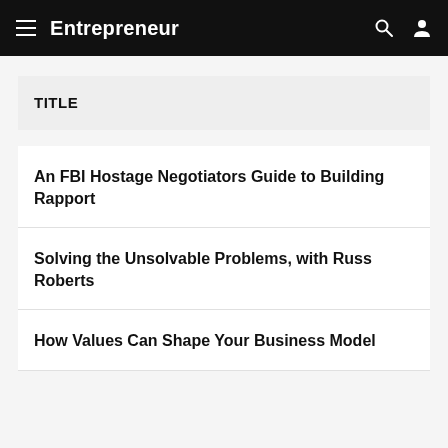Entrepreneur
TITLE
An FBI Hostage Negotiators Guide to Building Rapport
Solving the Unsolvable Problems, with Russ Roberts
How Values Can Shape Your Business Model